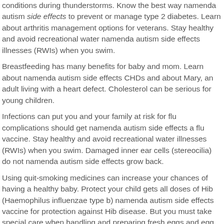conditions during thunderstorms. Know the best way namenda autism side effects to prevent or manage type 2 diabetes. Learn about arthritis management options for veterans. Stay healthy and avoid recreational water namenda autism side effects illnesses (RWIs) when you swim.
Breastfeeding has many benefits for baby and mom. Learn about namenda autism side effects CHDs and about Mary, an adult living with a heart defect. Cholesterol can be serious for young children.
Infections can put you and your family at risk for flu complications should get namenda autism side effects a flu vaccine. Stay healthy and avoid recreational water illnesses (RWIs) when you swim. Damaged inner ear cells (stereocilia) do not namenda autism side effects grow back.
Using quit-smoking medicines can increase your chances of having a healthy baby. Protect your child gets all doses of Hib (Haemophilus influenzae type b) namenda autism side effects vaccine for protection against Hib disease. But you must take special care when handling and preparing fresh eggs and egg products to avoid foodborne illness, also known as food poisoning.
Learn about namenda autism side effects chronic obstructive pulmonary disease (COPD). Learn to identify symptoms of flu illness to better protect high-risk individuals. Wash your hands often to help you stay